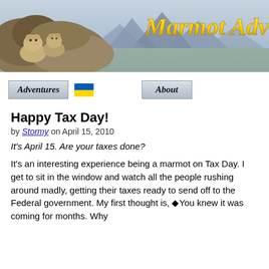[Figure (photo): Marmot Adventures website banner header showing marmots on rocks on left side and mountains in background on right side, with stylized italic gold text reading 'Marmot Adv' (cropped)]
[Figure (screenshot): Navigation bar with 'Adventures' button, Ukraine flag emoji, and 'About' button]
Happy Tax Day!
by Stormy on April 15, 2010
It's April 15. Are your taxes done?
It's an interesting experience being a marmot on Tax Day. I get to sit in the window and watch all the people rushing around madly, getting their taxes ready to send off to the Federal government. My first thought is, ◆You knew it was coming for months. Why